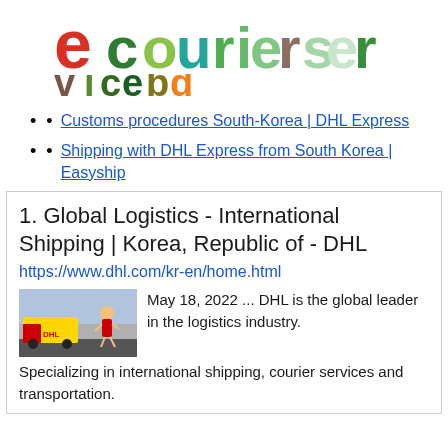[Figure (logo): Ecourierservicebd logo with red and green stylized 'e' and multicolored text]
Customs procedures South-Korea | DHL Express
Shipping with DHL Express from South Korea | Easyship
1. Global Logistics - International Shipping | Korea, Republic of - DHL
https://www.dhl.com/kr-en/home.html
[Figure (photo): DHL delivery truck and courier runner photo thumbnail]
May 18, 2022 ... DHL is the global leader in the logistics industry. Specializing in international shipping, courier services and transportation.